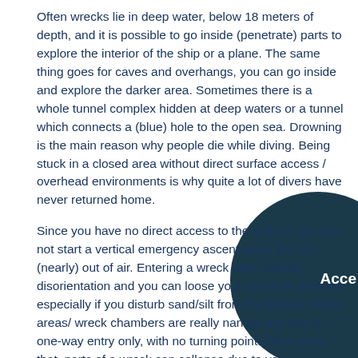Often wrecks lie in deep water, below 18 meters of depth, and it is possible to go inside (penetrate) parts to explore the interior of the ship or a plane. The same thing goes for caves and overhangs, you can go inside and explore the darker area. Sometimes there is a whole tunnel complex hidden at deep waters or a tunnel which connects a (blue) hole to the open sea. Drowning is the main reason why people die while diving. Being stuck in a closed area without direct surface access / overhead environments is why quite a lot of divers have never returned home.
Since you have no direct access to the surface you can not start a vertical emergency ascent when you are (nearly) out of air. Entering a wreck often causes disorientation and you can loose your sense of direction, especially if you disturb sand/silt from the bottom. Some areas/ wreck chambers are really narrow and with a one-way entry only, with no turning point. Other than that, parts of a wreck can collapse due to various reasons and things can fall on you. This is why you should never enter a wreck without an experienced guide in the first place, but there are things to consider with guided dives as well.